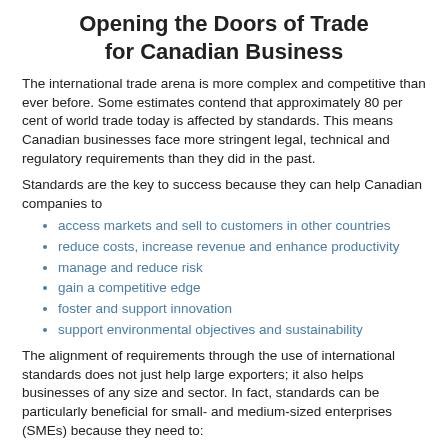Opening the Doors of Trade for Canadian Business
The international trade arena is more complex and competitive than ever before. Some estimates contend that approximately 80 per cent of world trade today is affected by standards. This means Canadian businesses face more stringent legal, technical and regulatory requirements than they did in the past.
Standards are the key to success because they can help Canadian companies to
access markets and sell to customers in other countries
reduce costs, increase revenue and enhance productivity
manage and reduce risk
gain a competitive edge
foster and support innovation
support environmental objectives and sustainability
The alignment of requirements through the use of international standards does not just help large exporters; it also helps businesses of any size and sector. In fact, standards can be particularly beneficial for small- and medium-sized enterprises (SMEs) because they need to: